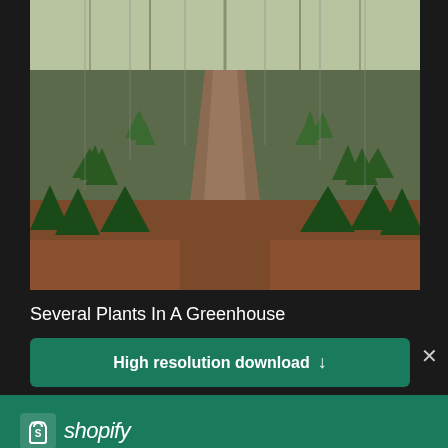[Figure (photo): Greenhouse interior with rows of tropical plants (likely pineapples) receding into the distance along a central path, under a translucent roof structure.]
Several Plants In A Greenhouse
High resolution download ↓
[Figure (logo): Shopify logo: shopping bag icon with S, followed by italic text 'shopify']
Need an online store for your business?
Start free trial